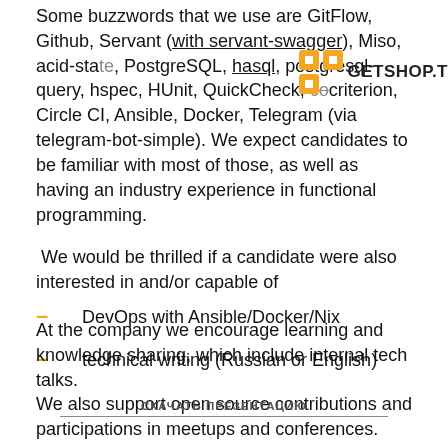Some buzzwords that we use are GitFlow, Github, Servant (with servant-swagger), Miso, acid-state, PostgreSQL, hasql, postgresql-query, hspec, HUnit, QuickCheck, criterion, Circle CI, Ansible, Docker, Telegram (via telegram-bot-simple). We expect candidates to be familiar with most of those, as well as having an industry experience in functional programming.
We would be thrilled if a candidate were also interested in and/or capable of
DevOps with Ansible/Docker/Nix
technical writing (Russian or English)
At the company we encourage learning and knowledge sharing, which include internal tech talks.
We also support open source contributions and participations in meetups and conferences.
СКАЧАТЬ ПРЕЗЕНТАЦИЮ